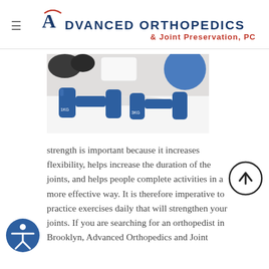Advanced Orthopedics & Joint Preservation, PC
[Figure (photo): Two blue 1kg and 3kg dumbbells on a white surface with fitness equipment in the background including a white phone and blue exercise ball]
strength is important because it increases flexibility, helps increase the duration of the joints, and helps people complete activities in a more effective way. It is therefore imperative to practice exercises daily that will strengthen your joints. If you are searching for an orthopedist in Brooklyn, Advanced Orthopedics and Joint